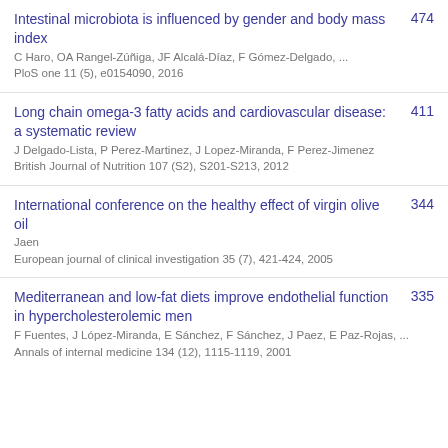Intestinal microbiota is influenced by gender and body mass index | C Haro, OA Rangel-Zúñiga, JF Alcalá-Díaz, F Gómez-Delgado, ... | PloS one 11 (5), e0154090, 2016 | 474
Long chain omega-3 fatty acids and cardiovascular disease: a systematic review | J Delgado-Lista, P Perez-Martinez, J Lopez-Miranda, F Perez-Jimenez | British Journal of Nutrition 107 (S2), S201-S213, 2012 | 411
International conference on the healthy effect of virgin olive oil | Jaen | European journal of clinical investigation 35 (7), 421-424, 2005 | 344
Mediterranean and low-fat diets improve endothelial function in hypercholesterolemic men | F Fuentes, J López-Miranda, E Sánchez, F Sánchez, J Paez, E Paz-Rojas, ... | Annals of internal medicine 134 (12), 1115-1119, 2001 | 335